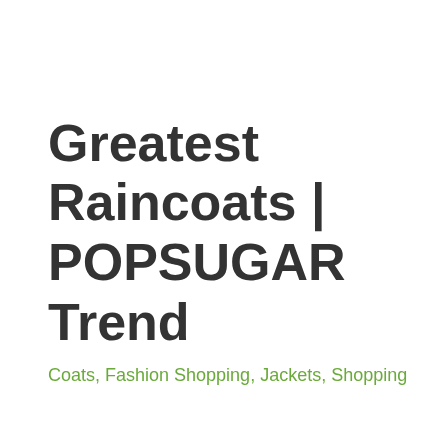Greatest Raincoats | POPSUGAR Trend
Coats, Fashion Shopping, Jackets, Shopping